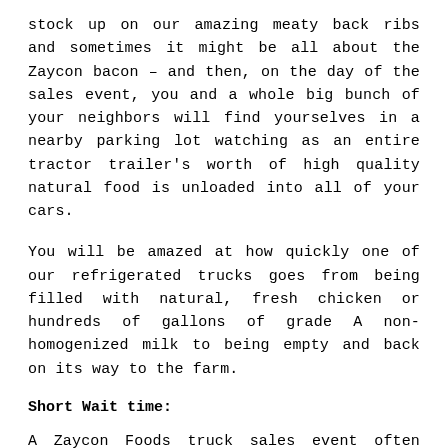stock up on our amazing meaty back ribs and sometimes it might be all about the Zaycon bacon – and then, on the day of the sales event, you and a whole big bunch of your neighbors will find yourselves in a nearby parking lot watching as an entire tractor trailer's worth of high quality natural food is unloaded into all of your cars.
You will be amazed at how quickly one of our refrigerated trucks goes from being filled with natural, fresh chicken or hundreds of gallons of grade A non-homogenized milk to being empty and back on its way to the farm.
Short Wait time:
A Zaycon Foods truck sales event often lasts less time than you would spend on a trip to the grocery store, yet you will leave with a whole lot more food than you'd get at the market, and for much better prices, too!
When you see the Zaycon Foods truck, you can...